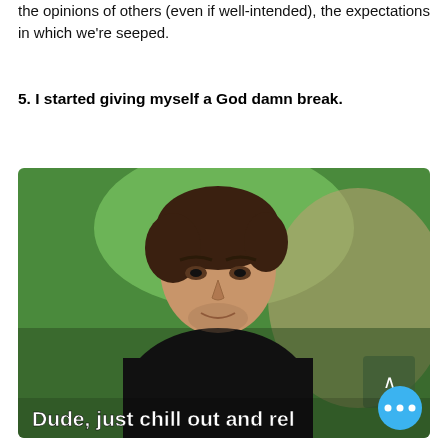the opinions of others (even if well-intended), the expectations in which we're seeped.
5. I started giving myself a God damn break.
[Figure (photo): A man sitting in front of a green background with text subtitle reading 'Dude, just chill out and rel...' with a blue floating action button with three dots in the bottom right corner.]